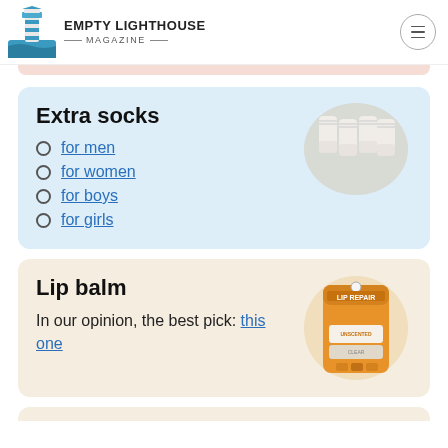EMPTY LIGHTHOUSE MAGAZINE
Extra socks
for men
for women
for boys
for girls
[Figure (photo): Pack of white ankle socks]
Lip balm
In our opinion, the best pick: this one
[Figure (photo): O'Keeffe's Lip Repair lip balm sticks in orange packaging]